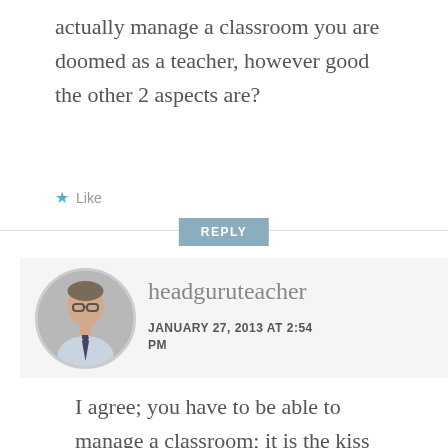actually manage a classroom you are doomed as a teacher, however good the other 2 aspects are?
★ Like
REPLY
[Figure (photo): Circular avatar photo of a man wearing glasses and a tie]
headguruteacher
JANUARY 27, 2013 AT 2:54 PM
I agree; you have to be able to manage a classroom; it is the kiss of death if a teacher cannot do it. However, often this is achieved